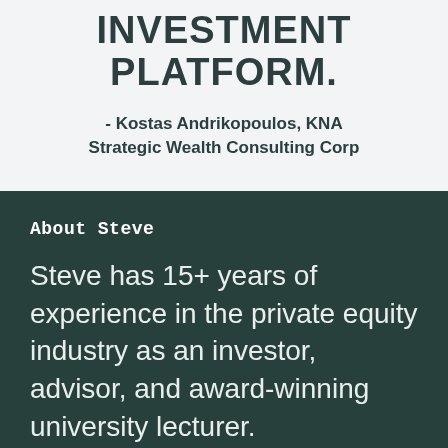INVESTMENT PLATFORM.
- Kostas Andrikopoulos, KNA Strategic Wealth Consulting Corp
About Steve
Steve has 15+ years of experience in the private equity industry as an investor, advisor, and award-winning university lecturer.